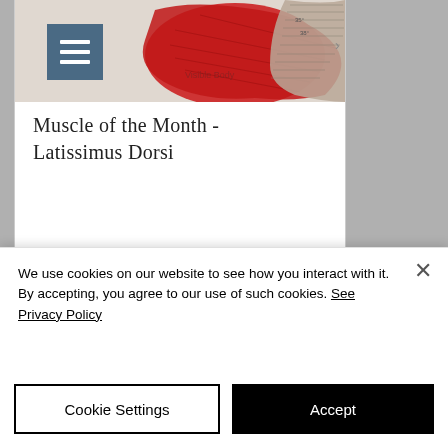[Figure (illustration): Anatomical illustration showing back muscles — latissimus dorsi in red and detailed muscle fiber diagram in gray/silver tones, with a hamburger/menu icon overlay (teal-blue square with three white horizontal lines) in the upper left of the image]
Muscle of the Month - Latissimus Dorsi
Recent Posts
We use cookies on our website to see how you interact with it. By accepting, you agree to our use of such cookies. See Privacy Policy